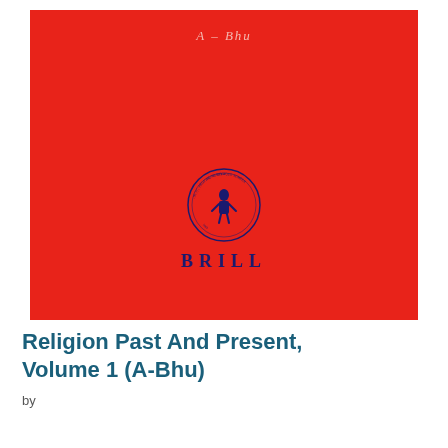[Figure (illustration): Red book cover with title 'A – Bhu' at top in light pink serif italic text, and Brill publisher logo (circular emblem with figure) and 'BRILL' text in dark navy at center-bottom of the cover]
Religion Past And Present, Volume 1 (A-Bhu)
by